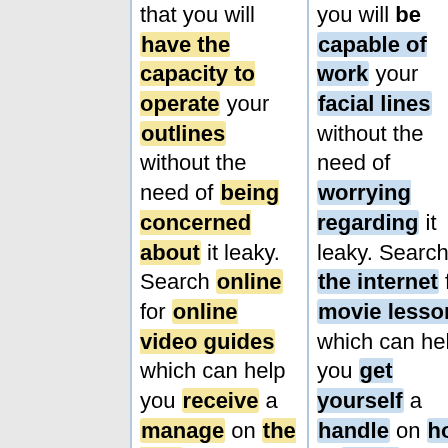that you will have the capacity to operate your outlines without the need of being concerned about it leaky. Search online for online video guides which can help you receive a manage on the way to soldering.<br><br><br>You can remove unsightly nutrient build up out of your shower area
you will be capable of work your facial lines without the need of worrying regarding it leaky. Search the internet for movie lessons which can help you get yourself a handle on how to make soldering.<br><br><br>You can take away unsightly mineral accumulation through your shower room brain by soaking it in vinegar